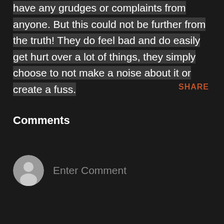have any grudges or complaints from anyone. But this could not be further from the truth! They do feel bad and do easily get hurt over a lot of things, they simply choose to not make a noise about it or create a fuss.
SHARE
Comments
Enter Comment